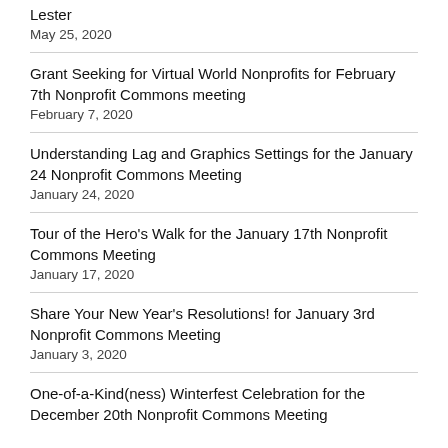Lester
May 25, 2020
Grant Seeking for Virtual World Nonprofits for February 7th Nonprofit Commons meeting
February 7, 2020
Understanding Lag and Graphics Settings for the January 24 Nonprofit Commons Meeting
January 24, 2020
Tour of the Hero's Walk for the January 17th Nonprofit Commons Meeting
January 17, 2020
Share Your New Year's Resolutions! for January 3rd Nonprofit Commons Meeting
January 3, 2020
One-of-a-Kind(ness) Winterfest Celebration for the December 20th Nonprofit Commons Meeting